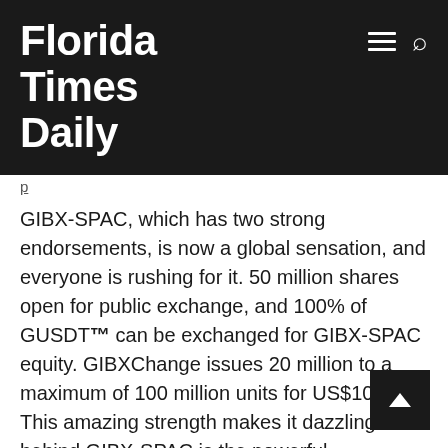Florida Times Daily
GIBX-SPAC, which has two strong endorsements, is now a global sensation, and everyone is rushing for it. 50 million shares open for public exchange, and 100% of GUSDT™ can be exchanged for GIBX-SPAC equity. GIBXChange issues 20 million to a maximum of 100 million units for US$10.00. This amazing strength makes it dazzling. And behind GIBX-SPAC is the powerful GIBXChange endorsing it.